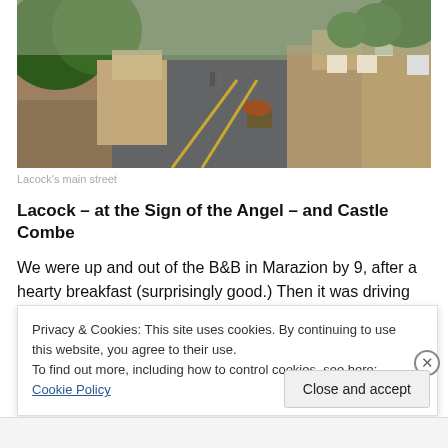[Figure (photo): A narrow winding road through Lacock village with old stone cottages on either side, green ivy-covered walls, and two figures walking in the distance. Yellow road markings visible.]
Lacock's main street
Lacock – at the Sign of the Angel – and Castle Combe
We were up and out of the B&B in Marazion by 9, after a hearty breakfast (surprisingly good.) Then it was driving
Privacy & Cookies: This site uses cookies. By continuing to use this website, you agree to their use.
To find out more, including how to control cookies, see here: Cookie Policy
Close and accept